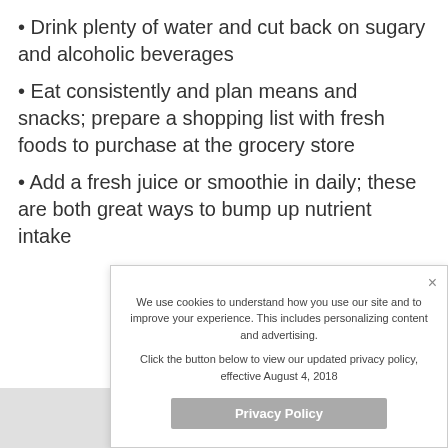Drink plenty of water and cut back on sugary and alcoholic beverages
Eat consistently and plan means and snacks; prepare a shopping list with fresh foods to purchase at the grocery store
Add a fresh juice or smoothie in daily; these are both great ways to bump up nutrient intake
We use cookies to understand how you use our site and to improve your experience. This includes personalizing content and advertising.
Click the button below to view our updated privacy policy, effective August 4, 2018
Privacy Policy